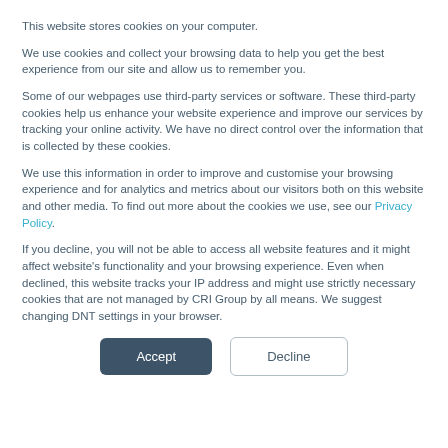This website stores cookies on your computer.
We use cookies and collect your browsing data to help you get the best experience from our site and allow us to remember you.
Some of our webpages use third-party services or software. These third-party cookies help us enhance your website experience and improve our services by tracking your online activity. We have no direct control over the information that is collected by these cookies.
We use this information in order to improve and customise your browsing experience and for analytics and metrics about our visitors both on this website and other media. To find out more about the cookies we use, see our Privacy Policy.
If you decline, you will not be able to access all website features and it might affect website's functionality and your browsing experience. Even when declined, this website tracks your IP address and might use strictly necessary cookies that are not managed by CRI Group by all means. We suggest changing DNT settings in your browser.